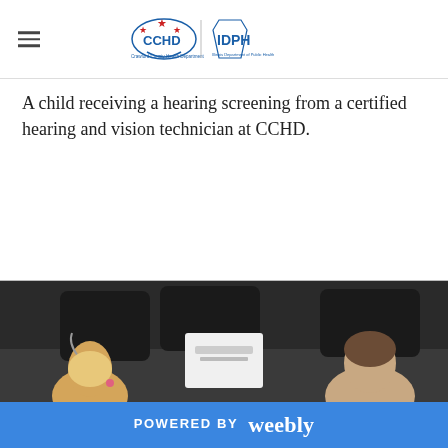CCHD IDPH
A child receiving a hearing screening from a certified hearing and vision technician at CCHD.
[Figure (photo): A child receiving a hearing screening from a certified hearing and vision technician. A young girl with headphones sits across from a technician with a white audiometry device between them. Black leather chairs visible in background.]
POWERED BY weebly